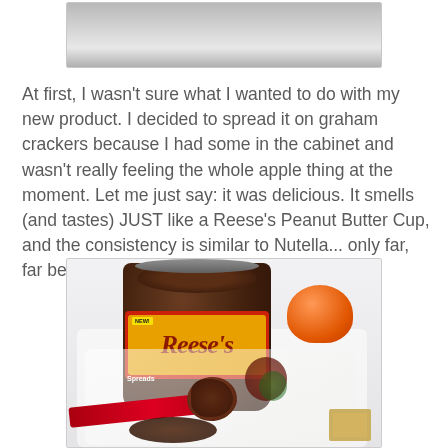[Figure (photo): Partial top view of a product image, showing the lower portion of what appears to be a metal/silver surface — cropped from a product photo above]
At first, I wasn't sure what I wanted to do with my new product. I decided to spread it on graham crackers because I had some in the cabinet and wasn't really feeling the whole apple thing at the moment. Let me just say: it was delicious. It smells (and tastes) JUST like a Reese's Peanut Butter Cup, and the consistency is similar to Nutella... only far, far better.
[Figure (photo): Photo of an open jar of Reese's chocolate spread on a decorative plate with a red spoon holding a scoop of the dark chocolate spread, an orange lid visible to the right, and graham crackers at the bottom]